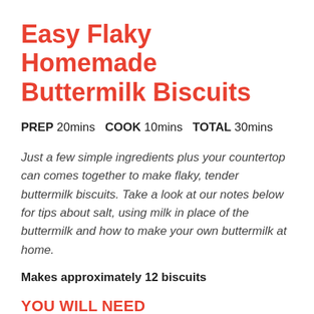Easy Flaky Homemade Buttermilk Biscuits
PREP 20mins  COOK 10mins  TOTAL 30mins
Just a few simple ingredients plus your countertop can comes together to make flaky, tender buttermilk biscuits. Take a look at our notes below for tips about salt, using milk in place of the buttermilk and how to make your own buttermilk at home.
Makes approximately 12 biscuits
YOU WILL NEED
2 cups (260 grams) all-purpose flour